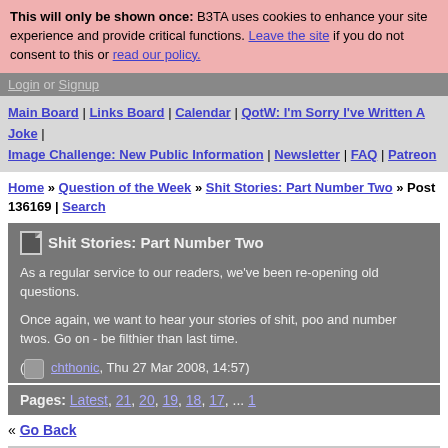This will only be shown once: B3TA uses cookies to enhance your site experience and provide critical functions. Leave the site if you do not consent to this or read our policy.
Login or Signup
Main Board | Links Board | Calendar | QotW: I'm Sorry I've Written A Joke | Image Challenge: New Public Information | Newsletter | FAQ | Patreon
Home » Question of the Week » Shit Stories: Part Number Two » Post 136169 | Search
Shit Stories: Part Number Two
As a regular service to our readers, we've been re-opening old questions.
Once again, we want to hear your stories of shit, poo and number twos. Go on - be filthier than last time.
( chthonic, Thu 27 Mar 2008, 14:57)
Pages: Latest, 21, 20, 19, 18, 17, ... 1
« Go Back
Chased out of the cellar by a Poo Golem
Basically the upstairs bog wouldn't flush properly, and a foul smell was starting to come up from the cellar of the house. Muggins here was duly dispatched to investigate.